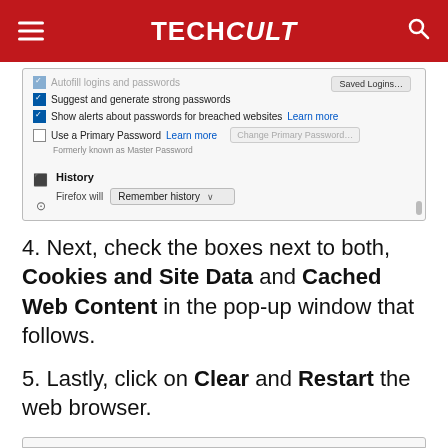TECHCult
[Figure (screenshot): Firefox browser settings screenshot showing password and history options including checkboxes for 'Autofill logins and passwords', 'Suggest and generate strong passwords', 'Show alerts about passwords for breached websites', 'Use a Primary Password', and History section with 'Remember history' dropdown.]
4. Next, check the boxes next to both, Cookies and Site Data and Cached Web Content in the pop-up window that follows.
5. Lastly, click on Clear and Restart the web browser.
[Figure (screenshot): Bottom portion of another Firefox settings screenshot (partially visible).]